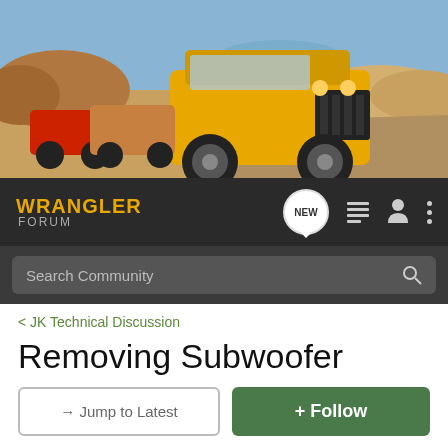[Figure (photo): Wrangler Forum banner image showing off-road Jeep Wranglers on desert terrain with orange/yellow Jeep in foreground]
WRANGLER FORUM
Search Community
< JK Technical Discussion
Removing Subwoofer
→ Jump to Latest
+ Follow
Hey everyone! Enter your ride HERE to be a part of Aug's Ride of the Month Challenge!